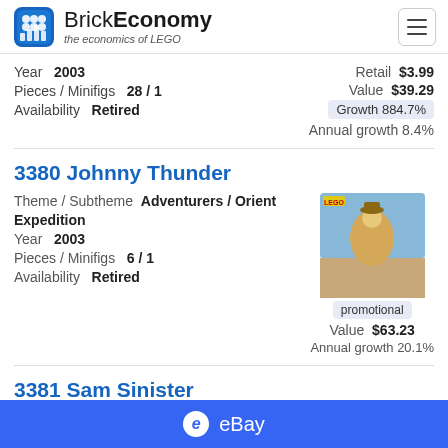BrickEconomy - the economics of LEGO
Year 2003 | Pieces / Minifigs 28 / 1 | Availability Retired | Retail $3.99 | Value $39.29 | Growth 884.7% | Annual growth 8.4%
3380 Johnny Thunder
Theme / Subtheme Adventurers / Orient Expedition | Year 2003 | Pieces / Minifigs 6 / 1 | Availability Retired | promotional | Value $63.23 | Annual growth 20.1%
3381 Sam Sinister
Theme / Subtheme Adventurers / Orient
eBay